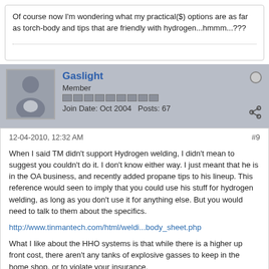Of course now I'm wondering what my practical($) options are as far as torch-body and tips that are friendly with hydrogen...hmmm...???
Gaslight
Member
Join Date: Oct 2004   Posts: 67
12-04-2010, 12:32 AM
#9
When I said TM didn't support Hydrogen welding, I didn't mean to suggest you couldn't do it. I don't know either way. I just meant that he is in the OA business, and recently added propane tips to his lineup. This reference would seen to imply that you could use his stuff for hydrogen welding, as long as you don't use it for anything else. But you would need to talk to them about the specifics.
http://www.tinmantech.com/html/weldi...body_sheet.php
What I like about the HHO systems is that while there is a higher up front cost, there aren't any tanks of explosive gasses to keep in the home shop, or to violate your insurance.
I use oxy propane, which is not ideal from the heat perspective, but is